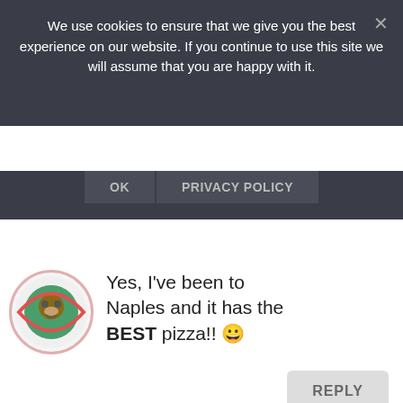We use cookies to ensure that we give you the best experience on our website. If you continue to use this site we will assume that you are happy with it.
OK   PRIVACY POLICY
[Figure (illustration): Circular avatar with a monkey and globe illustration]
Yes, I've been to Naples and it has the BEST pizza!! 😀
REPLY
[Figure (photo): Circular avatar photo of Ralph]
Ralph on June 1, 2015 at 1:03 pm